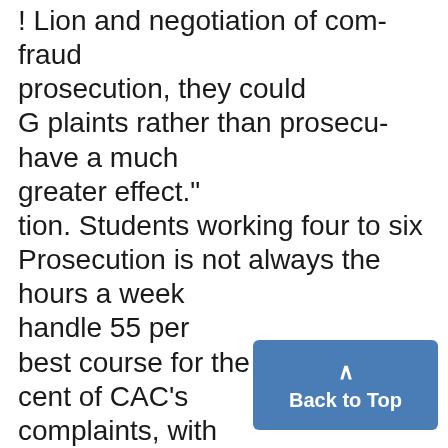! Lion and negotiation of com- fraud prosecution, they could G plaints rather than prosecu- have a much greater effect." tion. Students working four to six Prosecution is not always the hours a week handle 55 per best course for the consumer, cent of CAC's complaints, with explained CAC director John three other full-time employes Knapp. "The judge may give handling the rest. r the offender two years and sa
[Figure (other): Back to Top button — a teal/blue rounded rectangle with an upward caret arrow and the text 'Back to Top']